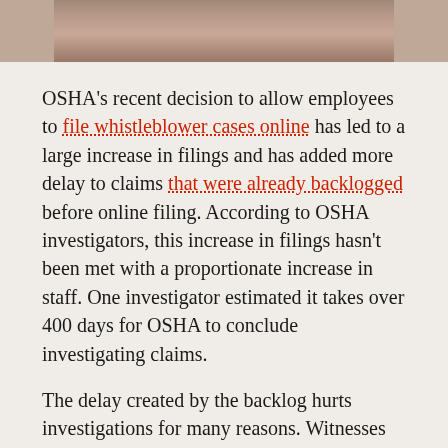[Figure (photo): Partial photo of a person, cropped showing clothing and chin area]
OSHA's recent decision to allow employees to file whistleblower cases online has led to a large increase in filings and has added more delay to claims that were already backlogged before online filing. According to OSHA investigators, this increase in filings hasn't been met with a proportionate increase in staff. One investigator estimated it takes over 400 days for OSHA to conclude investigating claims.
The delay created by the backlog hurts investigations for many reasons. Witnesses become unavailable, and recollections of events change. Unscrupulous employers also can use the delay to hide or destroy documents and intimidate witnesses.
Of course, employees who feel they have been